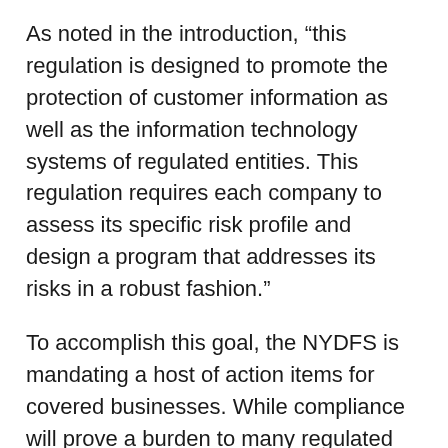As noted in the introduction, “this regulation is designed to promote the protection of customer information as well as the information technology systems of regulated entities. This regulation requires each company to assess its specific risk profile and design a program that addresses its risks in a robust fashion.”
To accomplish this goal, the NYDFS is mandating a host of action items for covered businesses. While compliance will prove a burden to many regulated businesses, the new law could be a boon to third-party cybersecurity providers that can provide assistance with compliance.
Insurance agents and brokers licensed in New York to sell insurance products, regulated by the NYDFS, are subject to the new regulation. Third-party vendors providing cybersecurity services to comply with the regulation also are required to meet...